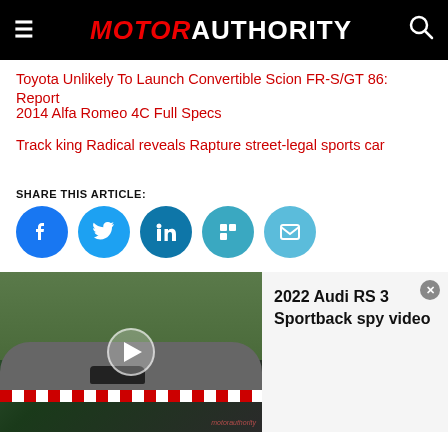MOTOR AUTHORITY
Toyota Unlikely To Launch Convertible Scion FR-S/GT 86: Report
2014 Alfa Romeo 4C Full Specs
Track king Radical reveals Rapture street-legal sports car
SHARE THIS ARTICLE:
[Figure (infographic): Social share buttons: Facebook, Twitter, LinkedIn, Flipboard, Email]
[Figure (screenshot): Video thumbnail showing a car on a race track (Nurburgring) with play button overlay, and video title panel showing '2022 Audi RS 3 Sportback spy video' with close button]